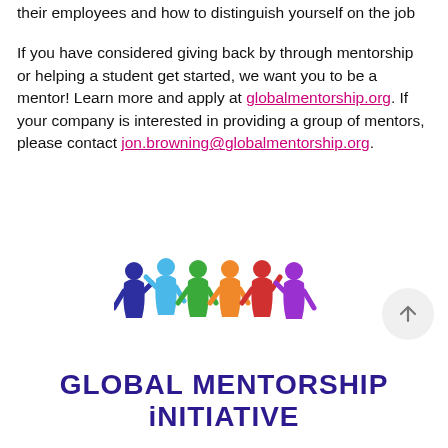their employees and how to distinguish yourself on the job
If you have considered giving back by through mentorship or helping a student get started, we want you to be a mentor! Learn more and apply at globalmentorship.org. If your company is interested in providing a group of mentors, please contact jon.browning@globalmentorship.org.
[Figure (logo): Global Mentorship Initiative logo: six colorful figures holding hands above the text GLOBAL MENTORSHIP iNITIATIVE]